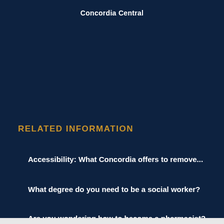Concordia Central
RELATED INFORMATION
Accessibility: What Concordia offers to remove...
What degree do you need to be a social worker?
Are you wondering how to become a pharmacist?